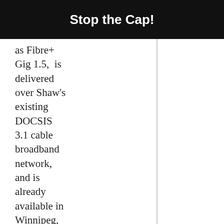Stop the Cap!
as Fibre+ Gig 1.5, is delivered over Shaw's existing DOCSIS 3.1 cable broadband network, and is already available in Winnipeg, Calgary, Edmonton, Vancouver, and Victoria